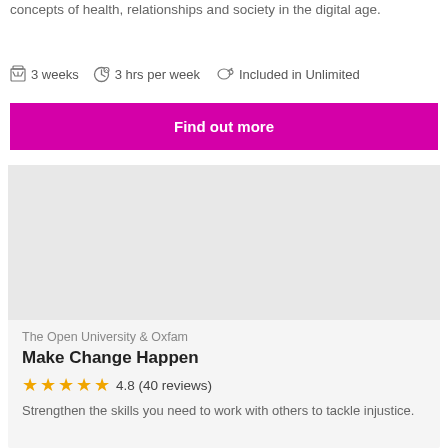concepts of health, relationships and society in the digital age.
3 weeks   3 hrs per week   Included in Unlimited
Find out more
[Figure (photo): Course card image placeholder (grey rectangle)]
The Open University & Oxfam
Make Change Happen
4.8 (40 reviews)
Strengthen the skills you need to work with others to tackle injustice.